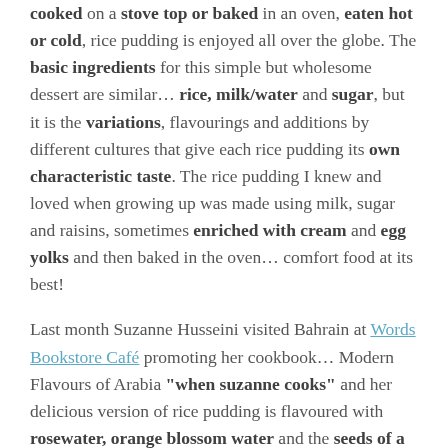cooked on a stove top or baked in an oven, eaten hot or cold, rice pudding is enjoyed all over the globe. The basic ingredients for this simple but wholesome dessert are similar… rice, milk/water and sugar, but it is the variations, flavourings and additions by different cultures that give each rice pudding its own characteristic taste. The rice pudding I knew and loved when growing up was made using milk, sugar and raisins, sometimes enriched with cream and egg yolks and then baked in the oven… comfort food at its best!
Last month Suzanne Husseini visited Bahrain at Words Bookstore Café promoting her cookbook… Modern Flavours of Arabia "when suzanne cooks" and her delicious version of rice pudding is flavoured with rosewater, orange blossom water and the seeds of a vanilla pod, served with a Date Compote.